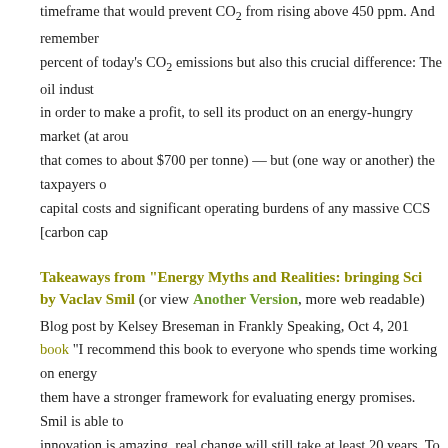timeframe that would prevent CO2 from rising above 450 ppm. And remember percent of today's CO2 emissions but also this crucial difference: The oil indust in order to make a profit, to sell its product on an energy-hungry market (at arou that comes to about $700 per tonne) — but (one way or another) the taxpayers c capital costs and significant operating burdens of any massive CCS [carbon cap
Takeaways from “Energy Myths and Realities: bringing Sci by Vaclav Smil (or view Another Version, more web readable)
Blog post by Kelsey Breseman in Frankly Speaking, Oct 4, 201
book “I recommend this book to everyone who spends time working on energy them have a stronger framework for evaluating energy promises. Smil is able to innovation is amazing, real change will still take at least 20 years. To me, the lo bringing new sources of energy online underscore the importance of pursuing m Smil’s description of his book. (The book was published in 201 232 pages.)
————————-
Are Biofuels an Effective and Viable Energy Strategy for In